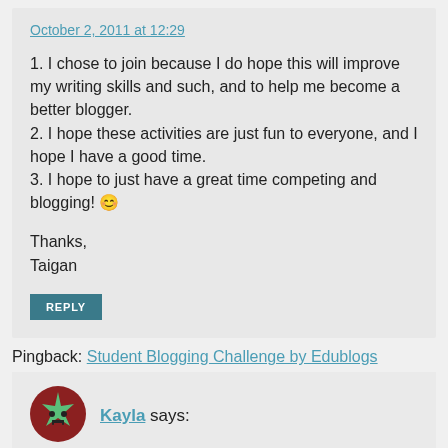October 2, 2011 at 12:29
1. I chose to join because I do hope this will improve my writing skills and such, and to help me become a better blogger.
2. I hope these activities are just fun to everyone, and I hope I have a good time.
3. I hope to just have a great time competing and blogging! 🙂
Thanks,
Taigan
REPLY
Pingback: Student Blogging Challenge by Edublogs
Kayla says: